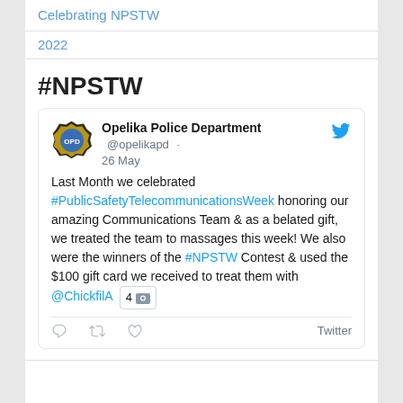Celebrating NPSTW
2022
#NPSTW
[Figure (screenshot): Tweet from Opelika Police Department (@opelikapd) dated 26 May. Text: Last Month we celebrated #PublicSafetyTelecommunicationsWeek honoring our amazing Communications Team & as a belated gift, we treated the team to massages this week! We also were the winners of the #NPSTW Contest & used the $100 gift card we received to treat them with @ChickfilA 4[photo icon]. Actions: reply, retweet, like, Twitter.]